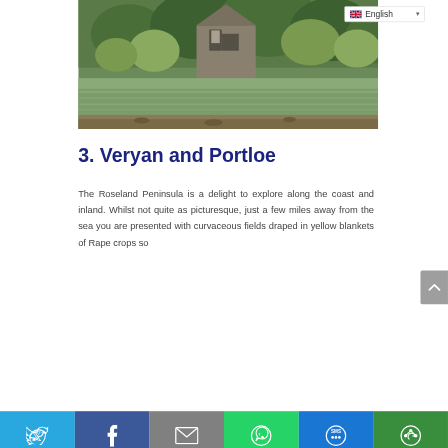[Figure (photo): Scenic photo of a stone church or building surrounded by green trees and reflected in a calm body of water]
[Figure (screenshot): Language selector dropdown showing English with UK flag]
3. Veryan and Portloe
The Roseland Peninsula is a delight to explore along the coast and inland. Whilst not quite as picturesque, just a few miles away from the sea you are presented with curvaceous fields draped in yellow blankets of Rape crops so
[Figure (infographic): Social sharing bar at the bottom with Twitter, Facebook, Email, WhatsApp, SMS, and share icons]